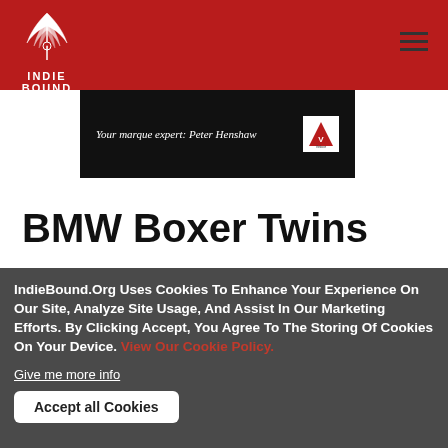IndieBound
[Figure (photo): Book cover image with dark background showing text 'Your marque expert: Peter Henshaw' and a Veloce publisher badge on the right]
BMW Boxer Twins
IndieBound.Org Uses Cookies To Enhance Your Experience On Our Site, Analyze Site Usage, And Assist In Our Marketing Efforts. By Clicking Accept, You Agree To The Storing Of Cookies On Your Device. View Our Cookie Policy.
Give me more info
Accept all Cookies